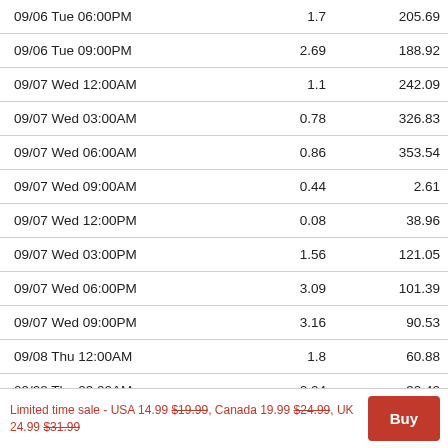| Date/Time | Col2 | Col3 |
| --- | --- | --- |
| 09/06 Tue 06:00PM | 1.7 | 205.69 |
| 09/06 Tue 09:00PM | 2.69 | 188.92 |
| 09/07 Wed 12:00AM | 1.1 | 242.09 |
| 09/07 Wed 03:00AM | 0.78 | 326.83 |
| 09/07 Wed 06:00AM | 0.86 | 353.54 |
| 09/07 Wed 09:00AM | 0.44 | 2.61 |
| 09/07 Wed 12:00PM | 0.08 | 38.96 |
| 09/07 Wed 03:00PM | 1.56 | 121.05 |
| 09/07 Wed 06:00PM | 3.09 | 101.39 |
| 09/07 Wed 09:00PM | 3.16 | 90.53 |
| 09/08 Thu 12:00AM | 1.8 | 60.88 |
| 09/08 Thu 03:00AM | 2.04 | 32.42 |
| 09/08 Thu 06:00AM | 2.34 | 27.48 |
Limited time sale - USA 14.99 $19.99, Canada 19.99 $24.99, UK 24.99 $31.99